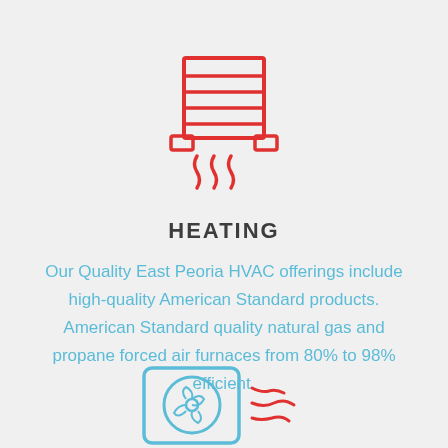[Figure (illustration): Red line-art icon of a furnace/heater with horizontal grill lines at top and heat wave symbols at the bottom, with two side mounting brackets]
HEATING
Our Quality East Peoria HVAC offerings include high-quality American Standard products. American Standard quality natural gas and propane forced air furnaces from 80% to 98% efficient.
[Figure (illustration): Red and blue line-art icon of an air conditioning unit, partially visible at bottom of page]